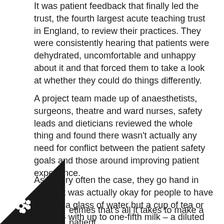It was patient feedback that finally led the trust, the fourth largest acute teaching trust in England, to review their practices. They were consistently hearing that patients were dehydrated, uncomfortable and unhappy about it and that forced them to take a look at whether they could do things differently.
A project team made up of anaesthetists, surgeons, theatre and ward nurses, safety leads and dieticians reviewed the whole thing and found there wasn't actually any need for conflict between the patient safety goals and those around improving patient experience.
As is very often the case, they go hand in glove. It was actually okay for people to have not just a glass of water but a cup of tea or coffee – with up to one-fifth milk – a diluted cordial or a non-carbonated energy drink just a couple of hours before going into theatre.
etimes that's all it takes to make a patient